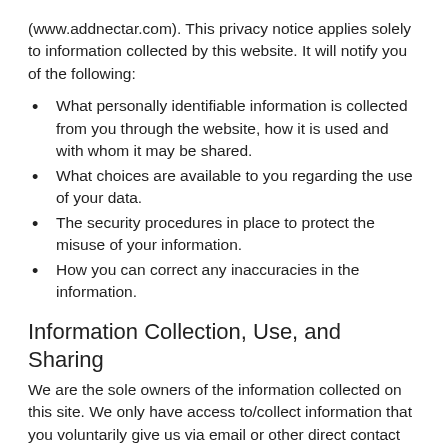(www.addnectar.com). This privacy notice applies solely to information collected by this website. It will notify you of the following:
What personally identifiable information is collected from you through the website, how it is used and with whom it may be shared.
What choices are available to you regarding the use of your data.
The security procedures in place to protect the misuse of your information.
How you can correct any inaccuracies in the information.
Information Collection, Use, and Sharing
We are the sole owners of the information collected on this site. We only have access to/collect information that you voluntarily give us via email or other direct contact from